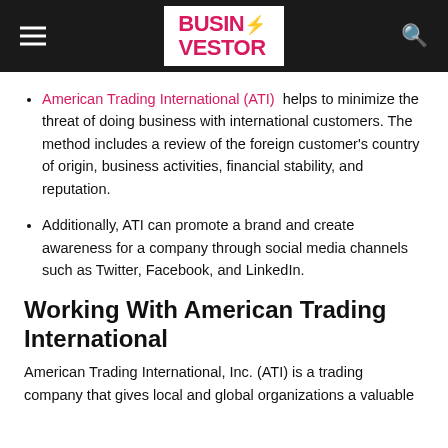BUSINVESTOR
American Trading International (ATI) helps to minimize the threat of doing business with international customers. The method includes a review of the foreign customer's country of origin, business activities, financial stability, and reputation.
Additionally, ATI can promote a brand and create awareness for a company through social media channels such as Twitter, Facebook, and LinkedIn.
Working With American Trading International
American Trading International, Inc. (ATI) is a trading company that gives local and global organizations a valuable